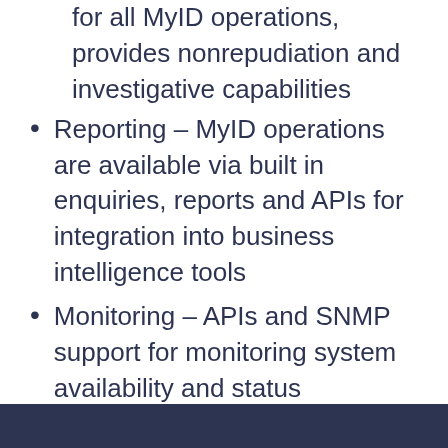for all MyID operations, provides nonrepudiation and investigative capabilities
Reporting – MyID operations are available via built in enquiries, reports and APIs for integration into business intelligence tools
Monitoring – APIs and SNMP support for monitoring system availability and status